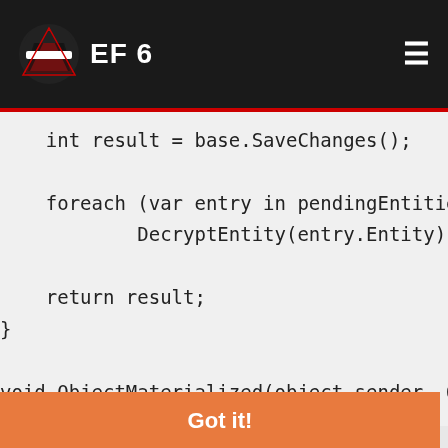EF 6
[Figure (screenshot): Code snippet showing C# Entity Framework code with SaveChanges, foreach, DecryptEntity, return result, ObjectMaterialized method]
This website uses cookies to ensure you get the best experience on our website.
Learn more
I've seen other posts that manually encrypt/decrypt via secondary properties, like so:
[Figure (screenshot): C# code: public Value { get; set; }]
Got it!